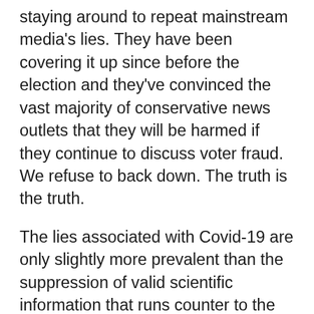staying around to repeat mainstream media's lies. They have been covering it up since before the election and they've convinced the vast majority of conservative news outlets that they will be harmed if they continue to discuss voter fraud. We refuse to back down. The truth is the truth.
The lies associated with Covid-19 are only slightly more prevalent than the suppression of valid scientific information that runs counter to the prescribed narrative. We should be allowed to ask questions about the vaccines, for example, as there is ample evidence for concern. One does not have to be an “anti-vaxxer” in order to want answers about vaccines that are still considered experimental and that have a track record in a short period